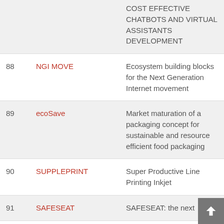| # | Project | Description |
| --- | --- | --- |
|  |  | COST EFFECTIVE CHATBOTS AND VIRTUAL ASSISTANTS DEVELOPMENT |
| 88 | NGI MOVE | Ecosystem building blocks for the Next Generation Internet movement |
| 89 | ecoSave | Market maturation of a packaging concept for sustainable and resource efficient food packaging |
| 90 | SUPPLEPRINT | Super Productive Line Printing Inkjet |
| 91 | SAFESEAT | SAFESEAT: the next... |